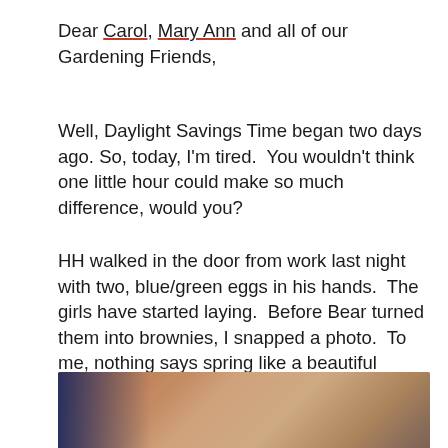Dear Carol, Mary Ann and all of our Gardening Friends,
Well, Daylight Savings Time began two days ago. So, today, I'm tired.  You wouldn't think one little hour could make so much difference, would you?
HH walked in the door from work last night with two, blue/green eggs in his hands.  The girls have started laying.  Before Bear turned them into brownies, I snapped a photo.  To me, nothing says spring like a beautiful chicken egg, or a chocolate bunny for that matter.
[Figure (photo): Partially visible photo showing what appears to be hands or objects, with warm brown and orange tones and a dark blue element at the left edge.]